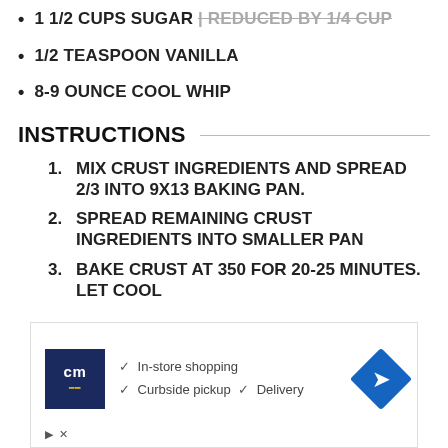1 1/2 CUPS SUGAR | REDUCED BY 1/4 CUP
1/2 TEASPOON VANILLA
8-9 OUNCE COOL WHIP
INSTRUCTIONS
1. MIX CRUST INGREDIENTS AND SPREAD 2/3 INTO 9X13 BAKING PAN.
2. SPREAD REMAINING CRUST INGREDIENTS INTO SMALLER PAN
3. BAKE CRUST AT 350 FOR 20-25 MINUTES. LET COOL
[Figure (screenshot): Advertisement banner with 'cm' logo, checkmarks for In-store shopping, Curbside pickup, Delivery, and a blue diamond arrow icon]